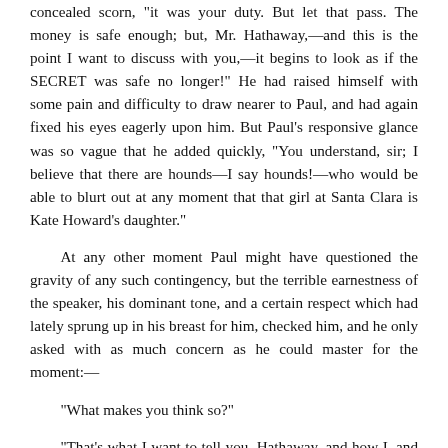concealed scorn, "it was your duty. But let that pass. The money is safe enough; but, Mr. Hathaway,—and this is the point I want to discuss with you,—it begins to look as if the SECRET was safe no longer!" He had raised himself with some pain and difficulty to draw nearer to Paul, and had again fixed his eyes eagerly upon him. But Paul's responsive glance was so vague that he added quickly, "You understand, sir; I believe that there are hounds—I say hounds!—who would be able to blurt out at any moment that that girl at Santa Clara is Kate Howard's daughter."
At any other moment Paul might have questioned the gravity of any such contingency, but the terrible earnestness of the speaker, his dominant tone, and a certain respect which had lately sprung up in his breast for him, checked him, and he only asked with as much concern as he could master for the moment:—
"What makes you think so?"
"That's what I want to tell you, Hathaway, and how I, and I alone, am responsible for it. When the bank was in difficulty and I made up my mind to guard the Trust with my own personal and private capital, I knew that there might be some comment on my action. It was a